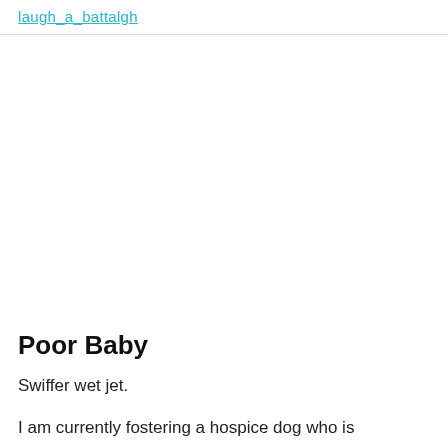laugh_a_battalgh
Poor Baby
Swiffer wet jet.
I am currently fostering a hospice dog who is